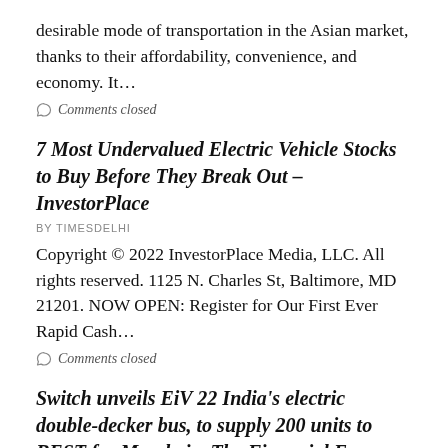desirable mode of transportation in the Asian market, thanks to their affordability, convenience, and economy. It…
Comments closed
7 Most Undervalued Electric Vehicle Stocks to Buy Before They Break Out – InvestorPlace
BY TIMESDELHI
Copyright © 2022 InvestorPlace Media, LLC. All rights reserved. 1125 N. Charles St, Baltimore, MD 21201. NOW OPEN: Register for Our First Ever Rapid Cash…
Comments closed
Switch unveils EiV 22 India's electric double-decker bus, to supply 200 units to BEST for Mumbai – The Financial Express
BY TIMESDELHI
Switch Mobility, the electric bus and light commercial